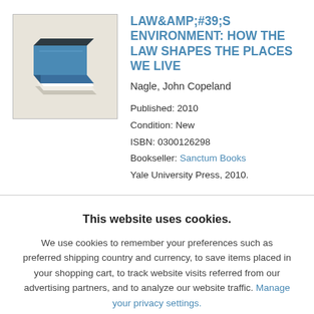[Figure (illustration): Isometric illustration of a blue book stacked, with white pages visible, on a beige/grey background]
LAW&AMP;#39;S ENVIRONMENT: HOW THE LAW SHAPES THE PLACES WE LIVE
Nagle, John Copeland
Published: 2010
Condition: New
ISBN: 0300126298
Bookseller: Sanctum Books
Yale University Press, 2010.
This website uses cookies.
We use cookies to remember your preferences such as preferred shipping country and currency, to save items placed in your shopping cart, to track website visits referred from our advertising partners, and to analyze our website traffic. Manage your privacy settings.